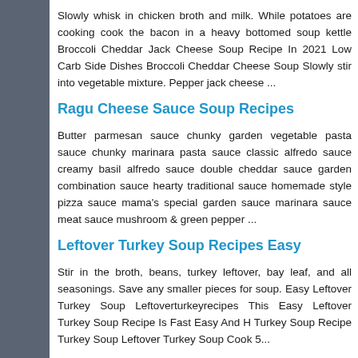Slowly whisk in chicken broth and milk. While potatoes are cooking cook the bacon in a heavy bottomed soup kettle Broccoli Cheddar Jack Cheese Soup Recipe In 2021 Low Carb Side Dishes Broccoli Cheddar Cheese Soup Slowly stir into vegetable mixture. Pepper jack cheese ...
Ragu Cheese Sauce Soup Recipes
Butter parmesan sauce chunky garden vegetable pasta sauce chunky marinara pasta sauce classic alfredo sauce creamy basil alfredo sauce double cheddar sauce garden combination sauce hearty traditional sauce homemade style pizza sauce mama's special garden sauce marinara sauce meat sauce mushroom & green pepper ...
Leftover Turkey Soup Recipes Easy
Stir in the broth, beans, turkey leftover, bay leaf, and all seasonings. Save any smaller pieces for soup. Easy Leftover Turkey Soup Leftoverturkeyrecipes This Easy Leftover Turkey Soup Recipe Is Fast Easy And H Turkey Soup Recipe Turkey Soup Leftover Turkey Soup Cook 5...